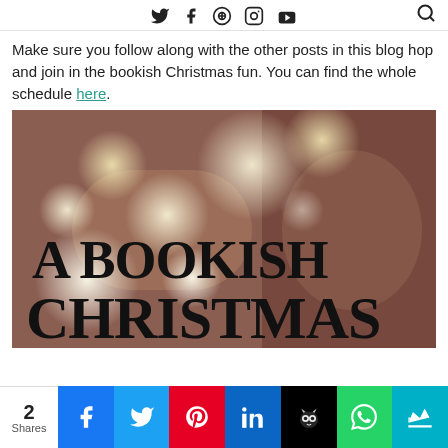Social media icons: Twitter, Facebook, Pinterest, Instagram, YouTube, Search
Make sure you follow along with the other posts in this blog hop and join in the bookish Christmas fun. You can find the whole schedule here.
[Figure (photo): A bookish Christmas promotional image with bokeh lights background and bold text reading 'A BOOKISH CHRISTMAS']
2 Shares — Social share buttons: Facebook, Twitter, Pinterest, LinkedIn, Buffer/Hootsuite, WhatsApp, Crown/other